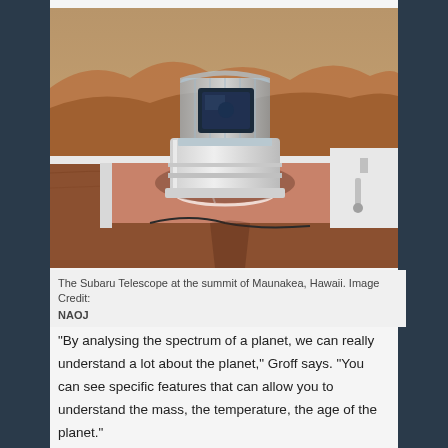[Figure (photo): The Subaru Telescope at the summit of Maunakea, Hawaii. A white cylindrical telescope dome with a transparent upper section revealing telescope components, set against a reddish-brown volcanic landscape.]
The Subaru Telescope at the summit of Maunakea, Hawaii. Image Credit: NAOJ
“By analysing the spectrum of a planet, we can really understand a lot about the planet,” Groff says. “You can see specific features that can allow you to understand the mass, the temperature, the age of the planet.”